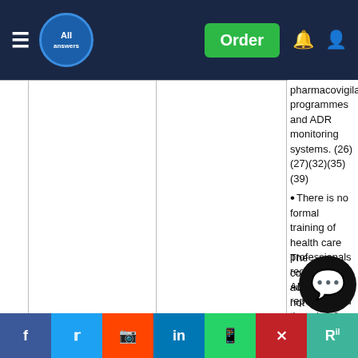All Answers – navigation bar with Order button
pharmacovigilance programmes and ADR monitoring systems. (26)(27)(32)(35)(39)
There is no formal training of health care professionals regarding ADR reporting and the rules & the procedure that should be followed. (25)(32)(35)(36)
The concerned authorities do not
Share bar: Facebook, Twitter, Reddit, LinkedIn, WhatsApp, Mendeley, ResearchGate